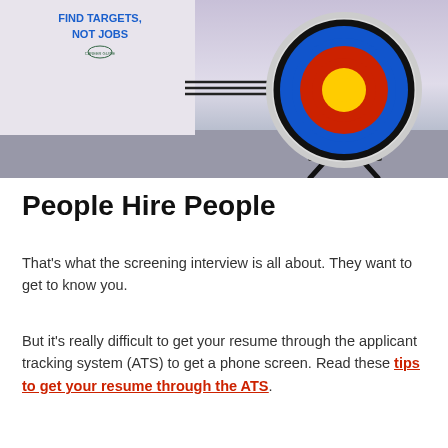[Figure (photo): Book or advertisement image showing an archery target with arrows hitting the bullseye and text 'FIND TARGETS, NOT JOBS' in blue and bold, with a logo below. Background is a light purple/blue sky. The target is blue, red, and gold with a white stand.]
People Hire People
That's what the screening interview is all about. They want to get to know you.
But it's really difficult to get your resume through the applicant tracking system (ATS) to get a phone screen. Read these tips to get your resume through the ATS.